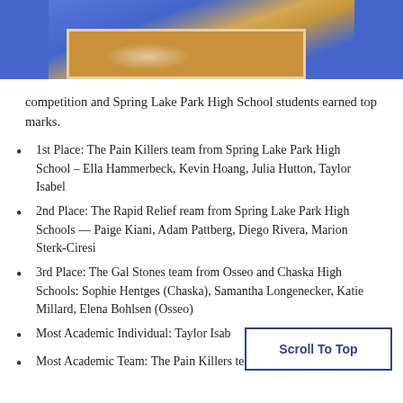[Figure (photo): Partial photo showing a gymnasium floor (orange wood floor with blue surrounding area) viewed from above, cropped at top of page.]
competition and Spring Lake Park High School students earned top marks.
1st Place: The Pain Killers team from Spring Lake Park High School – Ella Hammerbeck, Kevin Hoang, Julia Hutton, Taylor Isabel
2nd Place: The Rapid Relief ream from Spring Lake Park High Schools — Paige Kiani, Adam Pattberg, Diego Rivera, Marion Sterk-Ciresi
3rd Place: The Gal Stones team from Osseo and Chaska High Schools: Sophie Hentges (Chaska), Samantha Longenecker, Katie Millard, Elena Bohlsen (Osseo)
Most Academic Individual: Taylor Isabel … Park High School
Most Academic Team: The Pain Killers team from Spring